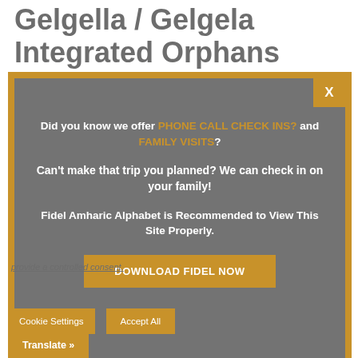Gelgella / Gelgela Integrated Orphans
[Figure (screenshot): Modal popup dialog with dark gray background and orange border. Contains bold white text: 'Did you know we offer PHONE CALL CHECK INS? and FAMILY VISITS?' followed by 'Can’t make that trip you planned? We can check in on your family!' and 'Fidel Amharic Alphabet is Recommended to View This Site Properly.' with an orange 'DOWNLOAD FIDEL NOW' button. Orange X close button in top right corner.]
provide a controlled consent.
Cookie Settings    Accept All    Translate »